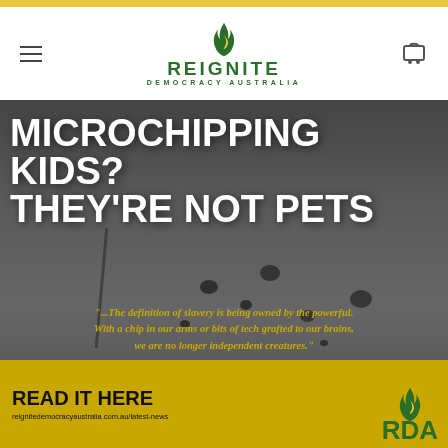Reignite Democracy Australia — navigation header
[Figure (illustration): Promotional image with black-and-white photo of a Dalmatian dog on a leash. Large bold white text headline reads 'MICROCHIPPING KIDS? THEY'RE NOT PETS'. Below in yellow italic text: '"...The definition of slavery is being owned by the powerful. With a chip in our arms or bits of tech grafted to our brains, we are no longer independent creatures."'. Bottom golden-yellow banner with 'READ IT HERE' and URL 'reignitedemocracyaustralia.com.au/latest-news' and RDA logo.]